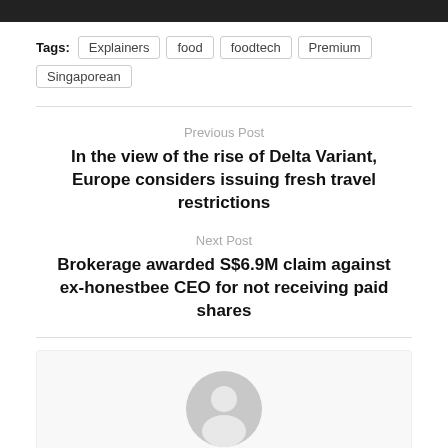Tags: Explainers   food   foodtech   Premium   Singaporean
Previous Post
In the view of the rise of Delta Variant, Europe considers issuing fresh travel restrictions
Next Post
Brokerage awarded S$6.9M claim against ex-honestbee CEO for not receiving paid shares
[Figure (illustration): Author avatar placeholder — grey circle with person silhouette]